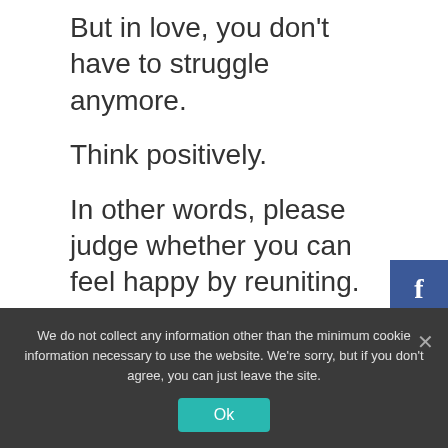But in love, you don’t have to struggle anymore.
Think positively.
In other words, please judge whether you can feel happy by reuniting.
We do not collect any information other than the minimum cookie information necessary to use the website. We're sorry, but if you don't agree, you can just leave the site.
Ok